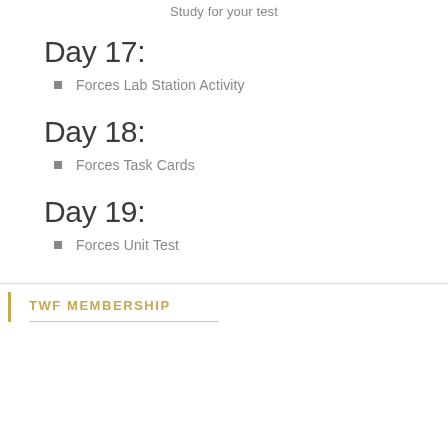Study for your test
Day 17:
Forces Lab Station Activity
Day 18:
Forces Task Cards
Day 19:
Forces Unit Test
TWF MEMBERSHIP